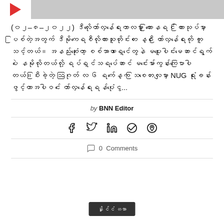[Figure (other): Play button icon (red triangle) on left, grey bar on right]
(၀၂–၈–၂၀၂၂) ဒီလိုတော်လှန်ရေးကာလမှာ ကြားနေရင် ကြားသုပ်မှာပြစ်တဲ့အတွက် ဒီမိုကရေစီလိုလားသူတိုင်းက နေ့ဉီး တော်လှန်ရေးကို ကူသင့်တယ်။ အနည်းဆုံးတော့ စစ်အာဏာရှင်တွေနဲ မပူးပေါင်းမဆောင်ရွက်ပဲ နေမိုလိုတယ်လို့ ရပ်ရှင်သရပ်ဆောင် မင်းမော်ကွန်းကပြောပါတယ်။ပြီးခဲ့တဲ့ ဩဂုတ် လ ၆ ရက်နေ့က သြစတေးလျမှာ NUG ရုံးခန်းဖွင့်တာအပါဝင် တော်လှန်ရေးရန်ပုံငွေ...
by BNN Editor
[Figure (infographic): Social sharing icons: Facebook, Twitter, LinkedIn, Telegram, WhatsApp]
0  Comments
[Figure (other): Dark button with Myanmar text (နိုင်ငံတကာ)]